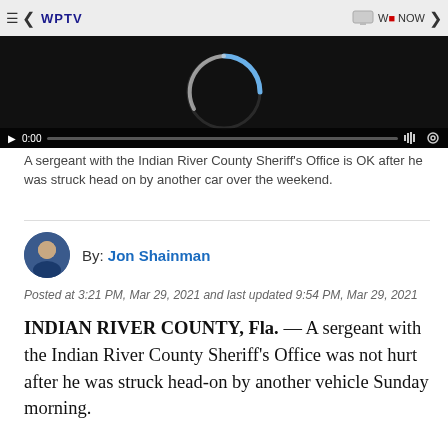[Figure (screenshot): Video player screenshot showing WPTV news video with loading spinner, play controls, time 0:00, dark background. Navigation bar with hamburger menu, back chevron, WPTV logo, TV icon, Watch Now label, and forward chevron.]
A sergeant with the Indian River County Sheriff's Office is OK after he was struck head on by another car over the weekend.
By: Jon Shainman
Posted at 3:21 PM, Mar 29, 2021 and last updated 9:54 PM, Mar 29, 2021
INDIAN RIVER COUNTY, Fla. — A sergeant with the Indian River County Sheriff's Office was not hurt after he was struck head-on by another vehicle Sunday morning.